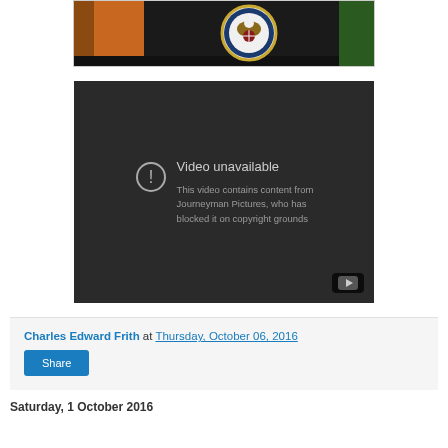[Figure (screenshot): Cropped bottom of a TV/monitor showing CIA logo and a person in orange, dark background]
[Figure (screenshot): YouTube video unavailable message on dark background. Text: 'Video unavailable. This video contains content from Journeyman Pictures, who has blocked it on copyright grounds.' YouTube play button icon in bottom right.]
Charles Edward Frith at Thursday, October 06, 2016
Share
Saturday, 1 October 2016